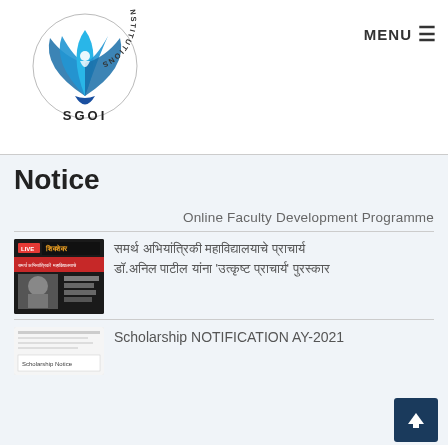[Figure (logo): Samarth Group of Institutions (SGOI) logo — a stylized blue lotus/fan shape with a human figure, circular text reading SAMARTH GROUP OF INSTITUTIONS, and SGOI below]
MENU ≡
Notice
Online Faculty Development Programme
[Figure (screenshot): News thumbnail showing a live TV broadcast with Devanagari text and a photo of a man with glasses]
समर्थ अभियांत्रिकी महाविद्यालयाचे प्राचार्य डॉ.अनिल पाटील यांना 'उत्कृष्ट प्राचार्य' पुरस्कार
[Figure (screenshot): Scholarship notification document thumbnail]
Scholarship NOTIFICATION AY-2021